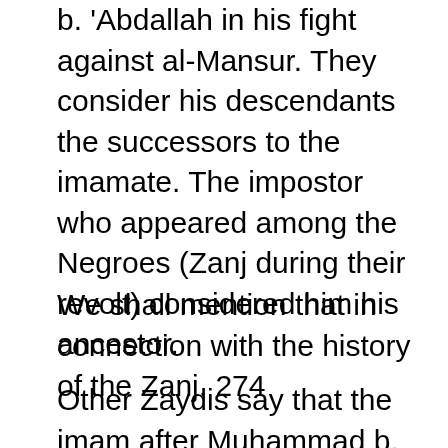b. 'Abdallah in his fight against al-Mansur. They consider his descendants the successors to the imamate. The impostor who appeared among the Negroes (Zanj during their revolt) considered him his ancestor.
We shall mention that in connection with the history of the Zanj. 274
Other Zaydis say that the imam after Muhammad b. 'Abdallah was his brother Idris who fled to the Maghrib and died there. His son Idris b. Idris seized power and laid out the city of Fez. His descendants succeeded him as rulers in the Maghrib, until they were destroyed, as we shall mention in connection with Idrisid history. 275 Thereafter, the Zaydi power became disorganized and remained so.
The missionary who ruled Tabaristan, al-Hasan b.